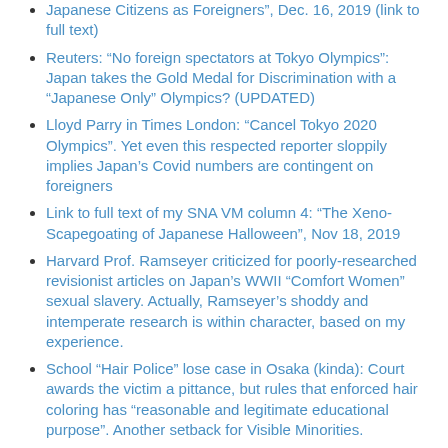Japanese Citizens as Foreigners", Dec. 16, 2019 (link to full text)
Reuters: “No foreign spectators at Tokyo Olympics”: Japan takes the Gold Medal for Discrimination with a “Japanese Only” Olympics? (UPDATED)
Lloyd Parry in Times London: “Cancel Tokyo 2020 Olympics”. Yet even this respected reporter sloppily implies Japan’s Covid numbers are contingent on foreigners
Link to full text of my SNA VM column 4: “The Xeno-Scapegoating of Japanese Halloween”, Nov 18, 2019
Harvard Prof. Ramseyer criticized for poorly-researched revisionist articles on Japan’s WWII “Comfort Women” sexual slavery. Actually, Ramseyer’s shoddy and intemperate research is within character, based on my experience.
School “Hair Police” lose case in Osaka (kinda): Court awards the victim a pittance, but rules that enforced hair coloring has “reasonable and legitimate educational purpose”. Another setback for Visible Minorities.
SNA VM 19: “Yoshiro Mori's Overdue Comeuppance”, Feb 15, 2021, on how the former Japan Olympics Chair melded misogyny with racism — for decades!